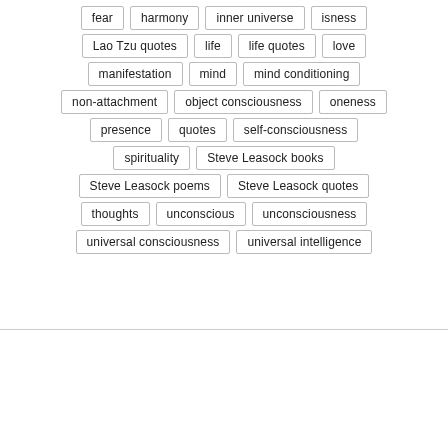fear
harmony
inner universe
isness
Lao Tzu quotes
life
life quotes
love
manifestation
mind
mind conditioning
non-attachment
object consciousness
oneness
presence
quotes
self-consciousness
spirituality
Steve Leasock books
Steve Leasock poems
Steve Leasock quotes
thoughts
unconscious
unconsciousness
universal consciousness
universal intelligence